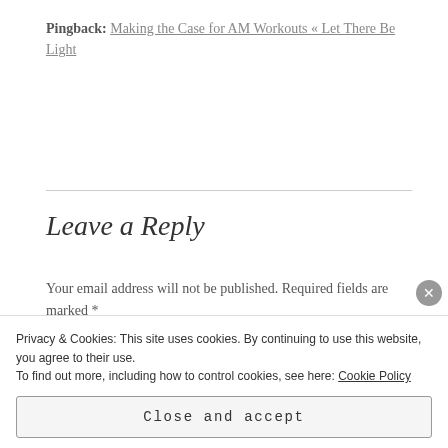Pingback: Making the Case for AM Workouts « Let There Be Light
Leave a Reply
Your email address will not be published. Required fields are marked *
COMMENT
Privacy & Cookies: This site uses cookies. By continuing to use this website, you agree to their use.
To find out more, including how to control cookies, see here: Cookie Policy
Close and accept